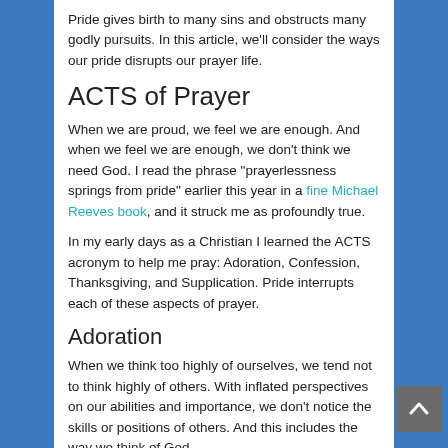Pride gives birth to many sins and obstructs many godly pursuits. In this article, we’ll consider the ways our pride disrupts our prayer life.
ACTS of Prayer
When we are proud, we feel we are enough. And when we feel we are enough, we don’t think we need God. I read the phrase “prayerlessness springs from pride” earlier this year in a fine Michael Reeves book, and it struck me as profoundly true.
In my early days as a Christian I learned the ACTS acronym to help me pray: Adoration, Confession, Thanksgiving, and Supplication. Pride interrupts each of these aspects of prayer.
Adoration
When we think too highly of ourselves, we tend not to think highly of others. With inflated perspectives on our abilities and importance, we don’t notice the skills or positions of others. And this includes the way we think of God.